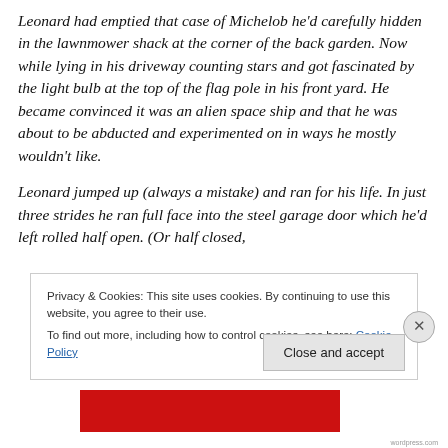Leonard had emptied that case of Michelob he'd carefully hidden in the lawnmower shack at the corner of the back garden. Now while lying in his driveway counting stars and got fascinated by the light bulb at the top of the flag pole in his front yard. He became convinced it was an alien space ship and that he was about to be abducted and experimented on in ways he mostly wouldn't like.
Leonard jumped up (always a mistake) and ran for his life. In just three strides he ran full face into the steel garage door which he'd left rolled half open. (Or half closed,
Privacy & Cookies: This site uses cookies. By continuing to use this website, you agree to their use.
To find out more, including how to control cookies, see here: Cookie Policy
Close and accept